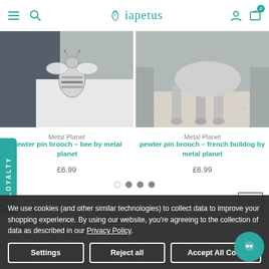iapetus — navigation header with hamburger menu, search, logo, user account, and cart (0 items)
[Figure (photo): Black and white photo of a pewter bee pin brooch on a dark leather background]
Metal Planet
pewter pin brooch – bee by metal planet
£6.99
[Figure (photo): Black and white photo of a pewter french bulldog pin brooch on a textured surface]
Metal Planet
pewter pin brooch – french bulldog by metal planet
£6.99
We use cookies (and other similar technologies) to collect data to improve your shopping experience. By using our website, you're agreeing to the collection of data as described in our Privacy Policy.
Settings
Reject all
Accept All Cookies